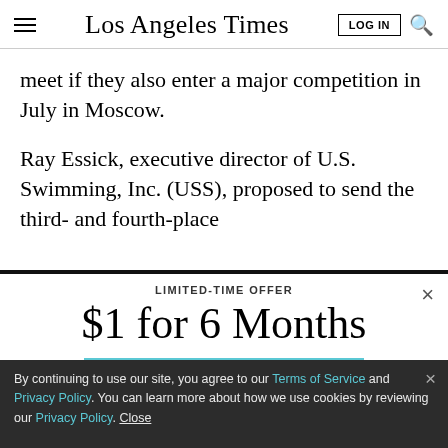Los Angeles Times
meet if they also enter a major competition in July in Moscow.
Ray Essick, executive director of U.S. Swimming, Inc. (USS), proposed to send the third- and fourth-place
LIMITED-TIME OFFER
$1 for 6 Months
SUBSCRIBE NOW
By continuing to use our site, you agree to our Terms of Service and Privacy Policy. You can learn more about how we use cookies by reviewing our Privacy Policy. Close